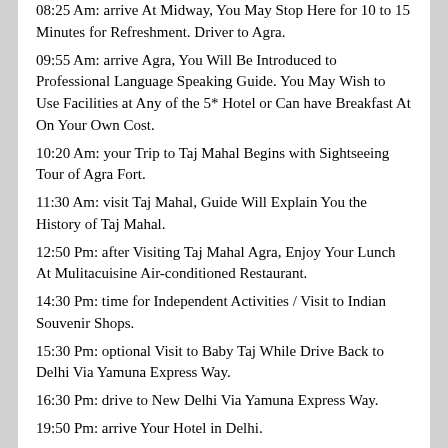08:25 Am: arrive At Midway, You May Stop Here for 10 to 15 Minutes for Refreshment. Driver to Agra.
09:55 Am: arrive Agra, You Will Be Introduced to Professional Language Speaking Guide. You May Wish to Use Facilities at Any of the 5* Hotel or Can have Breakfast At On Your Own Cost.
10:20 Am: your Trip to Taj Mahal Begins with Sightseeing Tour of Agra Fort.
11:30 Am: visit Taj Mahal, Guide Will Explain You the History of Taj Mahal.
12:50 Pm: after Visiting Taj Mahal Agra, Enjoy Your Lunch At Mulitacuisine Air-conditioned Restaurant.
14:30 Pm: time for Independent Activities / Visit to Indian Souvenir Shops.
15:30 Pm: optional Visit to Baby Taj While Drive Back to Delhi Via Yamuna Express Way.
16:30 Pm: drive to New Delhi Via Yamuna Express Way.
19:50 Pm: arrive Your Hotel in Delhi.
Inclusions
EP (No Meal)